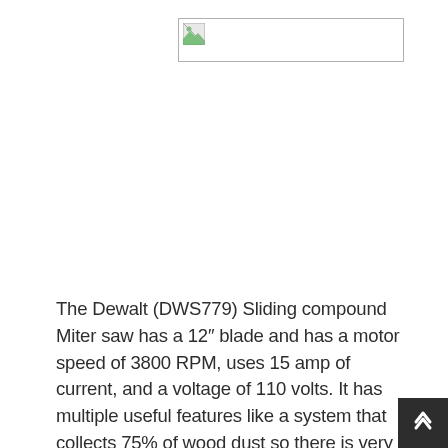[Figure (photo): Broken image placeholder for Dewalt DWS779 Sliding Compound Miter Saw product photo]
The Dewalt (DWS779) Sliding compound Miter saw has a 12″ blade and has a motor speed of 3800 RPM, uses 15 amp of current, and a voltage of 110 volts. It has multiple useful features like a system that collects 75% of wood dust so there is very little to sweep up when you get done.